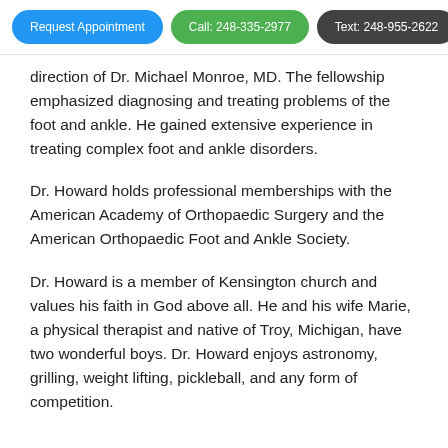Request Appointment | Call: 248-335-2977 | Text: 248-955-2622
direction of Dr. Michael Monroe, MD. The fellowship emphasized diagnosing and treating problems of the foot and ankle. He gained extensive experience in treating complex foot and ankle disorders.
Dr. Howard holds professional memberships with the American Academy of Orthopaedic Surgery and the American Orthopaedic Foot and Ankle Society.
Dr. Howard is a member of Kensington church and values his faith in God above all. He and his wife Marie, a physical therapist and native of Troy, Michigan, have two wonderful boys. Dr. Howard enjoys astronomy, grilling, weight lifting, pickleball, and any form of competition.